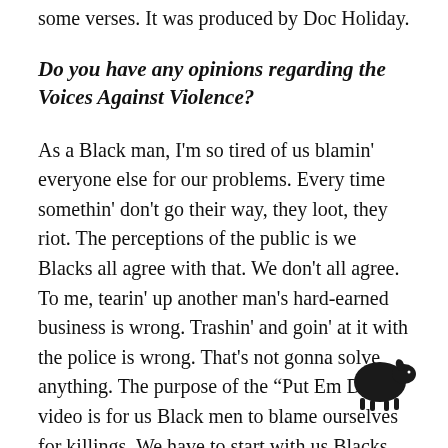some verses. It was produced by Doc Holiday.
Do you have any opinions regarding the Voices Against Violence?
As a Black man, I'm so tired of us blamin' everyone else for our problems. Every time somethin' don't go their way, they loot, they riot. The perceptions of the public is we Blacks all agree with that. We don't all agree. To me, tearin' up another man's hard-earned business is wrong. Trashin' and goin' at it with the police is wrong. That's not gonna solve anything. The purpose of the “Put Em Down” video is for us Black men to blame ourselves for killings. We have to start with us Blacks. Nobody can fix the Black problem besides the Black people. It's our
[Figure (illustration): Small black silhouette of a sheep/lamb in the lower right area of the page]